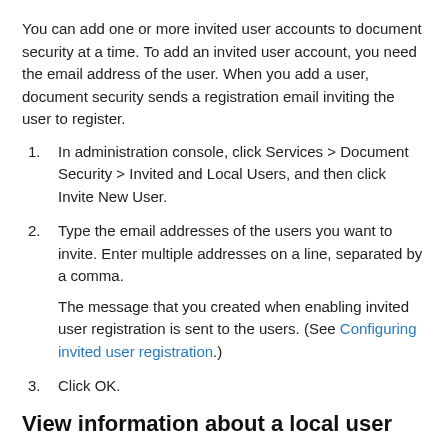You can add one or more invited user accounts to document security at a time. To add an invited user account, you need the email address of the user. When you add a user, document security sends a registration email inviting the user to register.
In administration console, click Services > Document Security > Invited and Local Users, and then click Invite New User.
Type the email addresses of the users you want to invite. Enter multiple addresses on a line, separated by a comma.

The message that you created when enabling invited user registration is sent to the users. (See Configuring invited user registration.)
Click OK.
View information about a local user